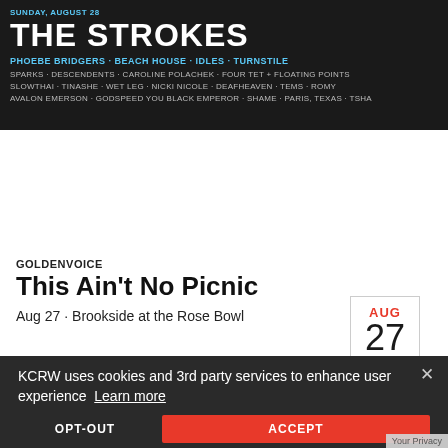[Figure (infographic): The Strokes festival lineup banner for Sunday August 28, dark background with white and blue text listing performers including Phoebe Bridgers, Beach House, Idles, Turnstile, Sparks, Descendents, Caroline Polachek, Four Tet, Floating Points, Slowthai, Tinashe, Wet Leg, Nicki Nicole, Deafheaven, Tems, Romy, and more.]
[Figure (infographic): AUG 27 calendar date box with red month text and large gray day number.]
GOLDENVOICE
This Ain’t No Picnic
Aug 27 • Brookside at the Rose Bowl
[Figure (infographic): Leimert Park Jazz Festival 2022 event banner in orange and black, Saturday August 27, Baldwin Hills Crenshaw Mall, Doors 11:30am, Concert 12:20pm-8:45pm. Tagline: JAZZ. COMMUNITY. CULTURE.]
KCRW uses cookies and 3rd party services to enhance user experience  Learn more
OPT-OUT
ACCEPT